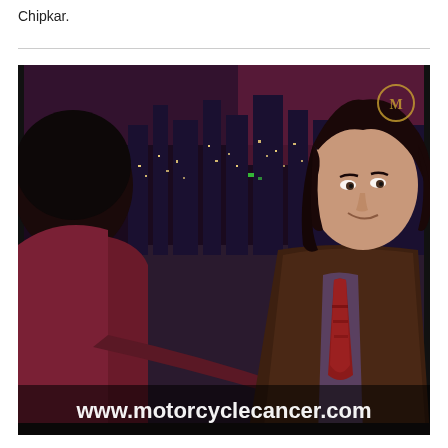Chipkar.
[Figure (photo): TV interview screenshot showing two people: one with dark hair from behind on the left, and a man in a brown suit with a patterned tie on the right, with a city skyline at night visible through windows in the background. A watermark reads 'www.motorcyclecancer.com' at the bottom of the image.]